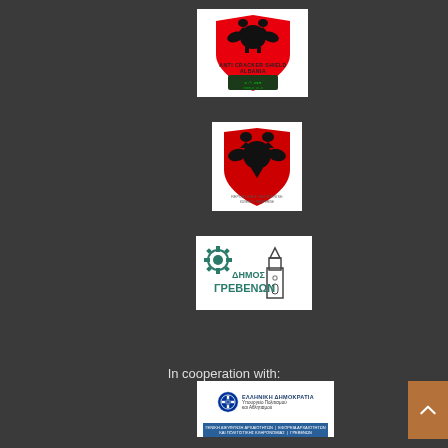[Figure (logo): ANTI CRACKER SHIELD ALBANIA logo with Albanian flag eagle emblem and green/black computer screen graphic below]
[Figure (logo): Albanian state emblem - red shield with black double-headed eagle, text below in Albanian]
[Figure (logo): Δήμος Γρεβενών (Municipality of Grevena) logo with tower/clock tower illustration and Greek text]
In cooperation with:
[Figure (logo): Ελληνική Δημοκρατία - Υπουργείο Πολιτισμού και Αθλητισμού (Greek Republic Ministry of Culture and Athletics) official logo with blue bar at bottom listing departments]
[Figure (other): Brown/terracotta colored navigation arrow button pointing up]